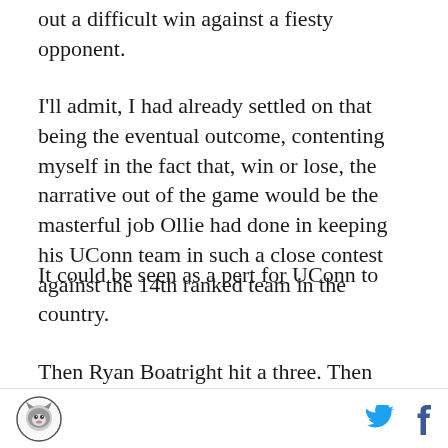out a difficult win against a fiesty opponent.
I'll admit, I had already settled on that being the eventual outcome, contenting myself in the fact that, win or lose, the narrative out of the game would be the masterful job Ollie had done in keeping his UConn team in such a close contest against the 14th ranked team in the country.
Then Ryan Boatright hit a three. Then UConn buckled down on defense. Then Shabazz Napier hit clutch free throws, which he usually does.
Then UConn won.
It could be seen as a perfect...